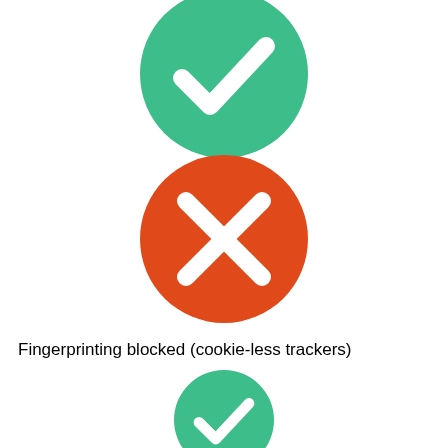[Figure (illustration): Green circle with white checkmark icon (top)]
[Figure (illustration): Red/orange circle with white X mark icon]
Fingerprinting blocked (cookie-less trackers)
[Figure (illustration): Green circle with white checkmark icon (bottom, partially visible)]